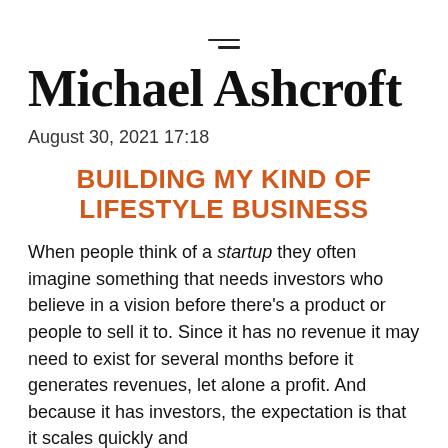≡
Michael Ashcroft
August 30, 2021 17:18
BUILDING MY KIND OF LIFESTYLE BUSINESS
When people think of a startup they often imagine something that needs investors who believe in a vision before there's a product or people to sell it to. Since it has no revenue it may need to exist for several months before it generates revenues, let alone a profit. And because it has investors, the expectation is that it scales quickly and